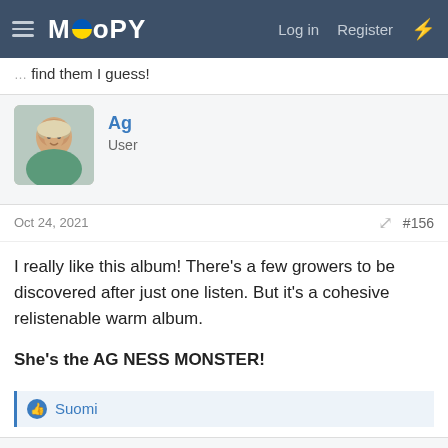MOOPY — Log in  Register
find them I guess!
Ag
User
Oct 24, 2021  #156
I really like this album! There's a few growers to be discovered after just one listen. But it's a cohesive relistenable warm album.

She's the AG NESS MONSTER!
👍 Suomi
Sheena
YOUR FAVOURITE.
Oct 24, 2021  #157